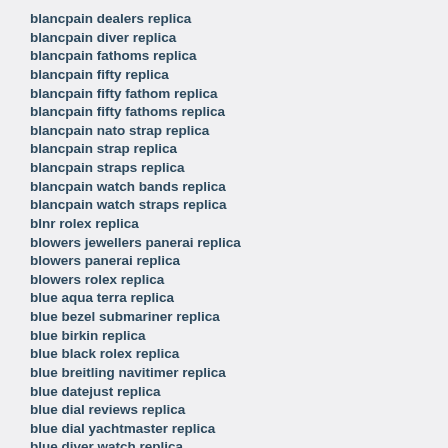blancpain dealers replica
blancpain diver replica
blancpain fathoms replica
blancpain fifty replica
blancpain fifty fathom replica
blancpain fifty fathoms replica
blancpain nato strap replica
blancpain strap replica
blancpain straps replica
blancpain watch bands replica
blancpain watch straps replica
blnr rolex replica
blowers jewellers panerai replica
blowers panerai replica
blowers rolex replica
blue aqua terra replica
blue bezel submariner replica
blue birkin replica
blue black rolex replica
blue breitling navitimer replica
blue datejust replica
blue dial reviews replica
blue dial yachtmaster replica
blue diver watch replica